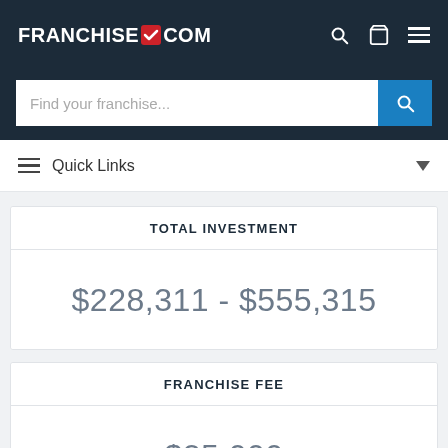FRANCHISEGRADE.COM
Find your franchise...
Quick Links
TOTAL INVESTMENT
$228,311 - $555,315
FRANCHISE FEE
$25,000